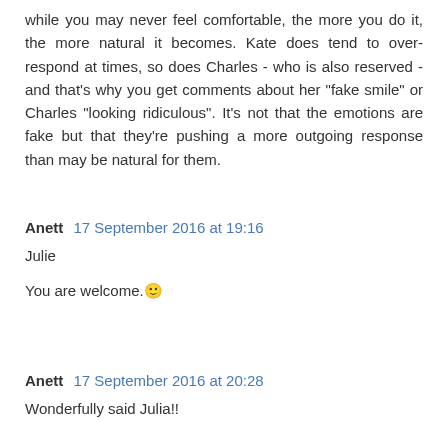while you may never feel comfortable, the more you do it, the more natural it becomes. Kate does tend to over-respond at times, so does Charles - who is also reserved - and that's why you get comments about her "fake smile" or Charles "looking ridiculous". It's not that the emotions are fake but that they're pushing a more outgoing response than may be natural for them.
Anett  17 September 2016 at 19:16
Julie
You are welcome.😃
Anett  17 September 2016 at 20:28
Wonderfully said Julia!!